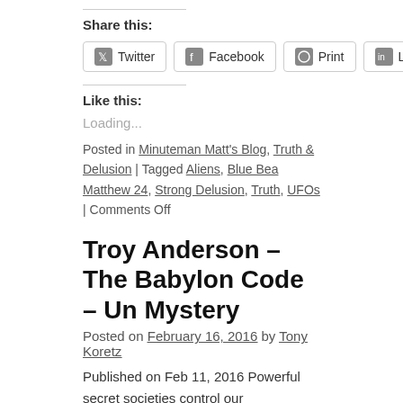Share this:
Twitter  Facebook  Print  LinkedIn  WhatsApp
Like this:
Loading...
Posted in Minuteman Matt's Blog, Truth & Delusion | Tagged Aliens, Blue Bea Matthew 24, Strong Delusion, Truth, UFOs | Comments Off
Troy Anderson – The Babylon Code – Un Mystery
Posted on February 16, 2016 by Tony Koretz
Published on Feb 11, 2016 Powerful secret societies control our Governments are beholden to them, and they have influential m